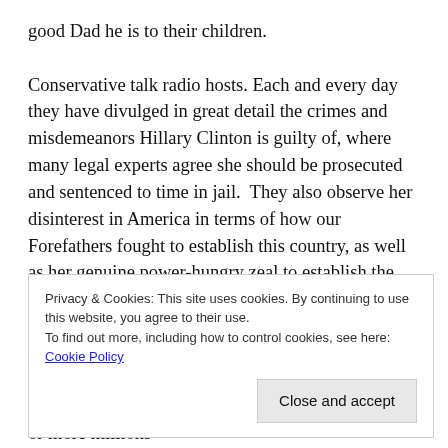good Dad he is to their children.

Conservative talk radio hosts. Each and every day they have divulged in great detail the crimes and misdemeanors Hillary Clinton is guilty of, where many legal experts agree she should be prosecuted and sentenced to time in jail.  They also observe her disinterest in America in terms of how our Forefathers fought to establish this country, as well as her genuine power-hungry zeal to establish the moniker of being the first female President, even though she could not be a worse choice for such a title. Clinton enthusiastically envisions what that role would bring her as long as it lasts, whether it’s more “celebrities” staying in the Lincoln bedroom, or more millions
Privacy & Cookies: This site uses cookies. By continuing to use this website, you agree to their use.
To find out more, including how to control cookies, see here: Cookie Policy

Close and accept